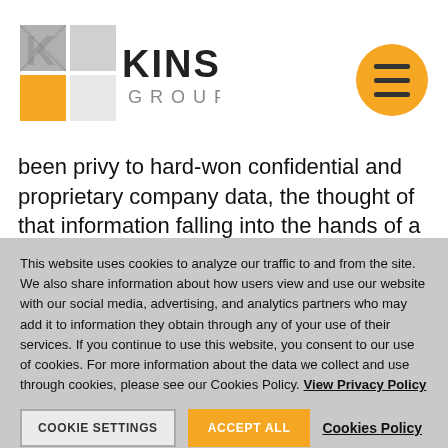[Figure (logo): Kinsa Group logo with geometric diamond squares in gray and yellow, text KINSA GROUP]
been privy to hard-won confidential and proprietary company data, the thought of that information falling into the hands of a competitor have caused many a sleepless night for business owners. This article is intended to
This website uses cookies to analyze our traffic to and from the site. We also share information about how users view and use our website with our social media, advertising, and analytics partners who may add it to information they obtain through any of your use of their services. If you continue to use this website, you consent to our use of cookies. For more information about the data we collect and use through cookies, please see our Cookies Policy. View Privacy Policy
COOKIE SETTINGS   ACCEPT ALL   Cookies Policy